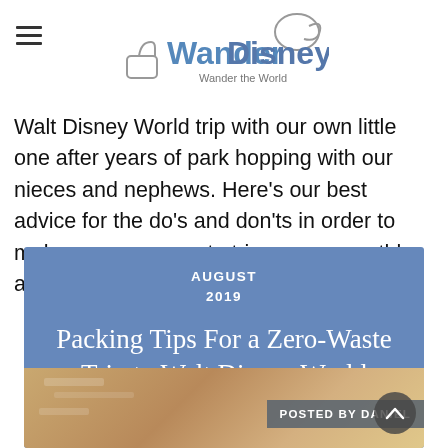WanderDisney — Wander the World
Walt Disney World trip with our own little one after years of park hopping with our nieces and nephews. Here's our best advice for the do's and don'ts in order to make your zero-waste trip go as smoothly as possible. If you have any [...]
AUGUST
2019
Packing Tips For a Zero-Waste Trip to Walt Disney World
POSTED BY DANIEL
[Figure (photo): Photo of packing items, shown partially at bottom of card]